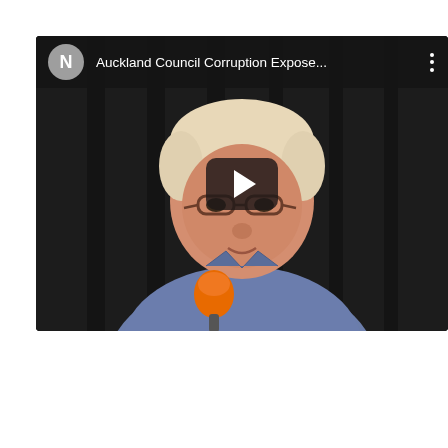[Figure (screenshot): YouTube-style embedded video thumbnail showing a middle-aged man with white/blonde hair and glasses, wearing a blue shirt and holding an orange microphone, against a dark curtain background. The video title reads 'Auckland Council Corruption Expose...' with a channel avatar showing the letter N, and a play button overlay in the center.]